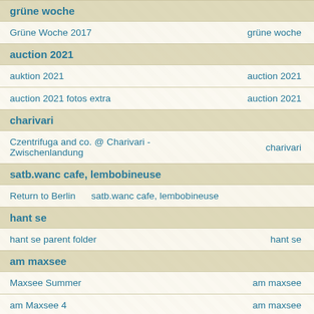grüne woche
| Name | Category |
| --- | --- |
| Grüne Woche 2017 | grüne woche |
auction 2021
| Name | Category |
| --- | --- |
| auktion 2021 | auction 2021 |
| auction 2021 fotos extra | auction 2021 |
charivari
| Name | Category |
| --- | --- |
| Czentrifuga and co. @ Charivari - Zwischenlandung | charivari |
satb.wanc cafe, lembobineuse
| Name | Category |
| --- | --- |
| Return to Berlin | satb.wanc cafe, lembobineuse |
hant se
| Name | Category |
| --- | --- |
| hant se parent folder | hant se |
am maxsee
| Name | Category |
| --- | --- |
| Maxsee Summer | am maxsee |
| am Maxsee 4 | am maxsee |